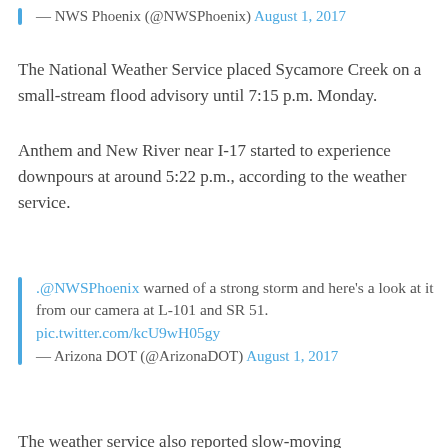— NWS Phoenix (@NWSPhoenix) August 1, 2017
The National Weather Service placed Sycamore Creek on a small-stream flood advisory until 7:15 p.m. Monday.
Anthem and New River near I-17 started to experience downpours at around 5:22 p.m., according to the weather service.
.@NWSPhoenix warned of a strong storm and here's a look at it from our camera at L-101 and SR 51. pic.twitter.com/kcU9wH05gy
— Arizona DOT (@ArizonaDOT) August 1, 2017
The weather service also reported slow-moving